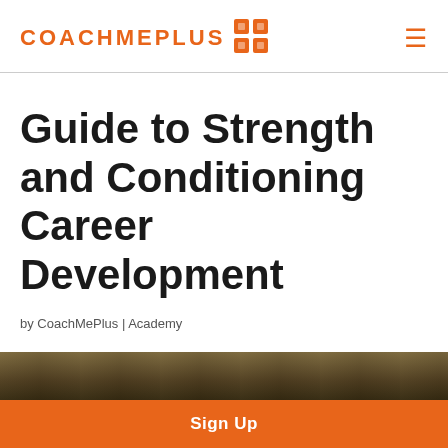COACHMEPLUS
Guide to Strength and Conditioning Career Development
by CoachMePlus | Academy
[Figure (photo): Dark blurred image of a sports/gym setting, partial view at bottom of page]
Sign Up